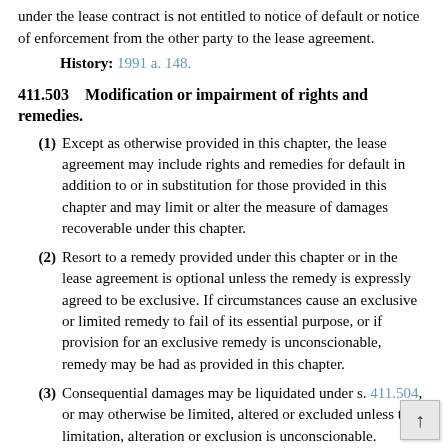under the lease contract is not entitled to notice of default or notice of enforcement from the other party to the lease agreement.
History: 1991 a. 148.
411.503   Modification or impairment of rights and remedies.
(1) Except as otherwise provided in this chapter, the lease agreement may include rights and remedies for default in addition to or in substitution for those provided in this chapter and may limit or alter the measure of damages recoverable under this chapter.
(2) Resort to a remedy provided under this chapter or in the lease agreement is optional unless the remedy is expressly agreed to be exclusive. If circumstances cause an exclusive or limited remedy to fail of its essential purpose, or if provision for an exclusive remedy is unconscionable, remedy may be had as provided in this chapter.
(3) Consequential damages may be liquidated under s. 411.504, or may otherwise be limited, altered or excluded unless the limitation, alteration or exclusion is unconscionable. Limitation, alteration or exclusion of consequential damages for injury to the person in the case of consumer goods is prima facie unconscionable but limitation, alteration or exclusion damages where the loss is commercial is not prima facie